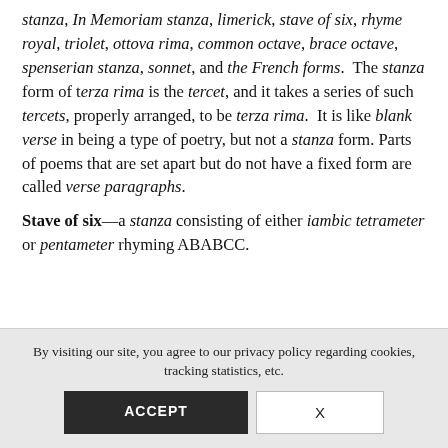stanza, In Memoriam stanza, limerick, stave of six, rhyme royal, triolet, ottova rima, common octave, brace octave, spenserian stanza, sonnet, and the French forms. The stanza form of terza rima is the tercet, and it takes a series of such tercets, properly arranged, to be terza rima. It is like blank verse in being a type of poetry, but not a stanza form. Parts of poems that are set apart but do not have a fixed form are called verse paragraphs.
Stave of six—a stanza consisting of either iambic tetrameter or pentameter rhyming ABABCC.
By visiting our site, you agree to our privacy policy regarding cookies, tracking statistics, etc.